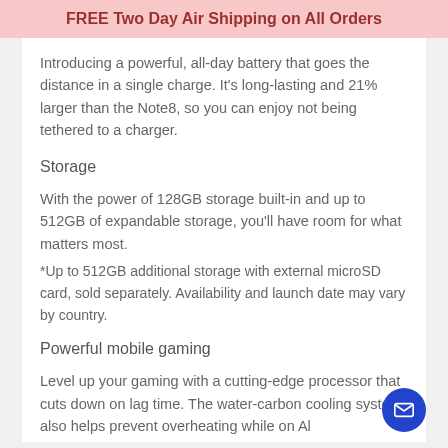FREE Two Day Air Shipping on All Orders
Introducing a powerful, all-day battery that goes the distance in a single charge. It's long-lasting and 21% larger than the Note8, so you can enjoy not being tethered to a charger.
Storage
With the power of 128GB storage built-in and up to 512GB of expandable storage, you'll have room for what matters most.
*Up to 512GB additional storage with external microSD card, sold separately. Availability and launch date may vary by country.
Powerful mobile gaming
Level up your gaming with a cutting-edge processor that cuts down on lag time. The water-carbon cooling system also helps prevent overheating while on Al